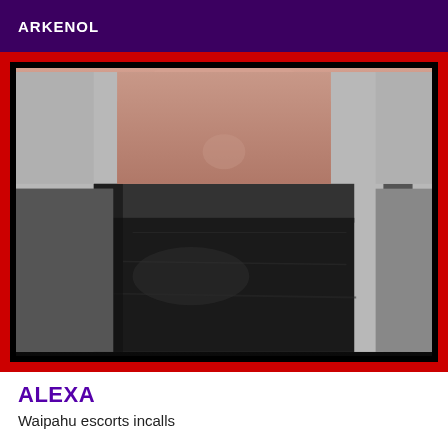ARKENOL
[Figure (photo): Close-up photo of a person's torso wearing a black leather mini skirt, with midriff visible against a light background.]
ALEXA
Waipahu escorts incalls